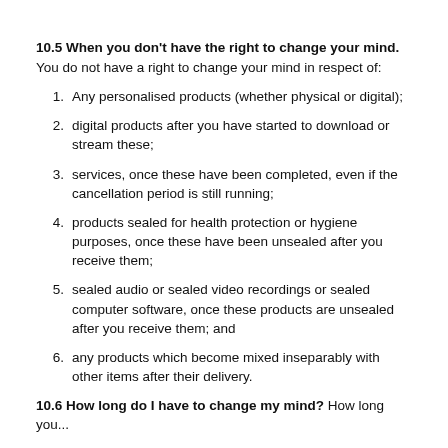10.5 When you don't have the right to change your mind. You do not have a right to change your mind in respect of:
Any personalised products (whether physical or digital);
digital products after you have started to download or stream these;
services, once these have been completed, even if the cancellation period is still running;
products sealed for health protection or hygiene purposes, once these have been unsealed after you receive them;
sealed audio or sealed video recordings or sealed computer software, once these products are unsealed after you receive them; and
any products which become mixed inseparably with other items after their delivery.
10.6 How long do I have to change my mind? How long you...